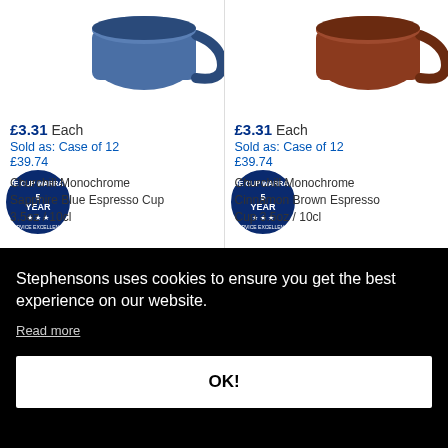[Figure (photo): Blue espresso cup with 5 Year Warranty badge, left product column]
£3.31 Each
Sold as: Case of 12
£39.74
Churchill Monochrome Sapphire Blue Espresso Cup 3.5oz / 10cl
[Figure (photo): Brown/cinnamon espresso cup with 5 Year Warranty badge, right product column]
£3.31 Each
Sold as: Case of 12
£39.74
Churchill Monochrome Cinnamon Brown Espresso Cup 3.5oz / 10cl
Stephensons uses cookies to ensure you get the best experience on our website.
Read more
OK!